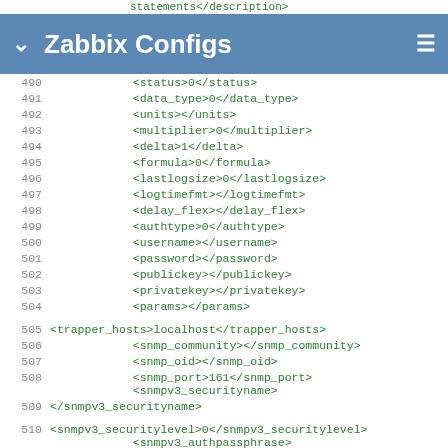statements</description>
Zabbix Configs
490   <status>0</status>
491       <data_type>0</data_type>
492       <units></units>
493       <multiplier>0</multiplier>
494       <delta>1</delta>
495       <formula>0</formula>
496       <lastlogsize>0</lastlogsize>
497       <logtimefmt></logtimefmt>
498       <delay_flex></delay_flex>
499       <authtype>0</authtype>
500       <username></username>
501       <password></password>
502       <publickey></publickey>
503       <privatekey></privatekey>
504       <params></params>
505 <trapper_hosts>localhost</trapper_hosts>
506       <snmp_community></snmp_community>
507       <snmp_oid></snmp_oid>
508       <snmp_port>161</snmp_port>
          <snmpv3_securityname>
509 </snmpv3_securityname>
510 <snmpv3_securitylevel>0</snmpv3_securitylevel>
          <snmpv3_authpassphrase>
511 </snmpv3_authpassphrase>